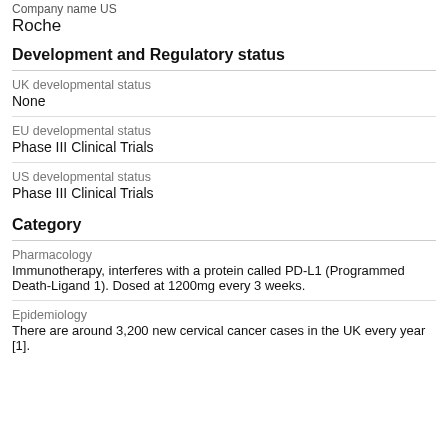Company name US
Roche
Development and Regulatory status
UK developmental status
None
EU developmental status
Phase III Clinical Trials
US developmental status
Phase III Clinical Trials
Category
Pharmacology
Immunotherapy, interferes with a protein called PD-L1 (Programmed Death-Ligand 1). Dosed at 1200mg every 3 weeks.
Epidemiology
There are around 3,200 new cervical cancer cases in the UK every year [1].